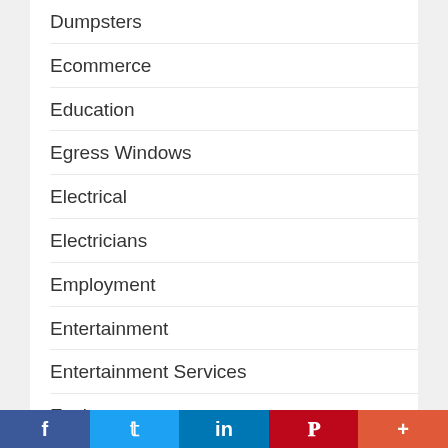Dumpsters
Ecommerce
Education
Egress Windows
Electrical
Electricians
Employment
Entertainment
Entertainment Services
Environment
Errand Services
Estate Services
Event Services
Events
f  t  in  P  +